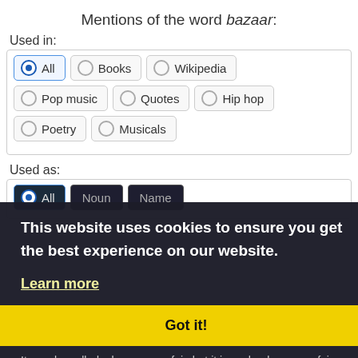Mentions of the word bazaar:
Used in:
[Figure (screenshot): Radio button filter group with options: All (selected), Books, Wikipedia, Pop music, Quotes, Hip hop, Poetry, Musicals]
Used as:
[Figure (screenshot): Radio button filter group with options: All (selected), Noun, Name — overlaid by cookie consent banner]
This website uses cookies to ensure you get the best experience on our website.
Learn more
Got it!
It may be called a bazaar or a fair, but it is such a bazaar or fair as Eastern genii might have created.
— Charlotte Brontë [Similar quotes, lyrics]
The Anglican Church, perched above Police Bazaar, is a graceful structure fronted by pretty lawns...
— Shillong [Similar quotes, lyrics]